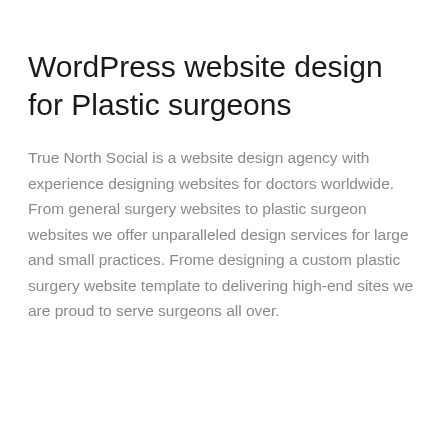WordPress website design for Plastic surgeons
True North Social is a website design agency with experience designing websites for doctors worldwide. From general surgery websites to plastic surgeon websites we offer unparalleled design services for large and small practices. Frome designing a custom plastic surgery website template to delivering high-end sites we are proud to serve surgeons all over.